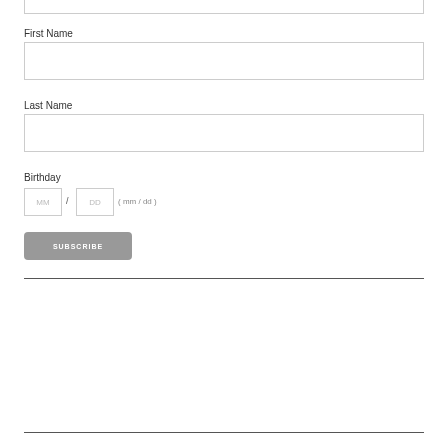First Name
Last Name
Birthday
MM / DD ( mm / dd )
SUBSCRIBE